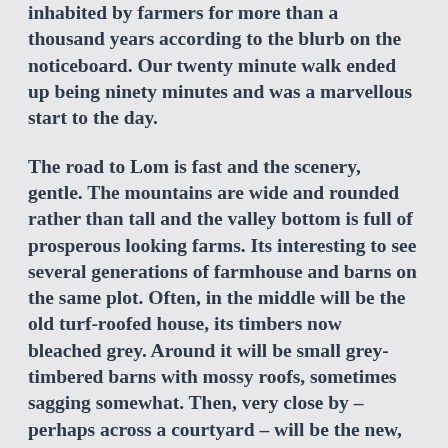inhabited by farmers for more than a thousand years according to the blurb on the noticeboard. Our twenty minute walk ended up being ninety minutes and was a marvellous start to the day.
The road to Lom is fast and the scenery, gentle. The mountains are wide and rounded rather than tall and the valley bottom is full of prosperous looking farms. Its interesting to see several generations of farmhouse and barns on the same plot. Often, in the middle will be the old turf-roofed house, its timbers now bleached grey. Around it will be small grey-timbered barns with mossy roofs, sometimes sagging somewhat. Then, very close by – perhaps across a courtyard – will be the new, bigger, farmhouse and barns in dark timber. Most of the rural buildings here are brown and black rather than red – quite a change from northern Norway.